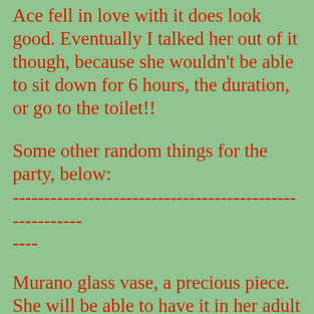Ace fell in love with it does look good. Eventually I talked her out of it though, because she wouldn't be able to sit down for 6 hours, the duration, or go to the toilet!!
Some other random things for the party, below:
--------------------------------------------------------
Murano glass vase, a precious piece. She will be able to have it in her adult home later.